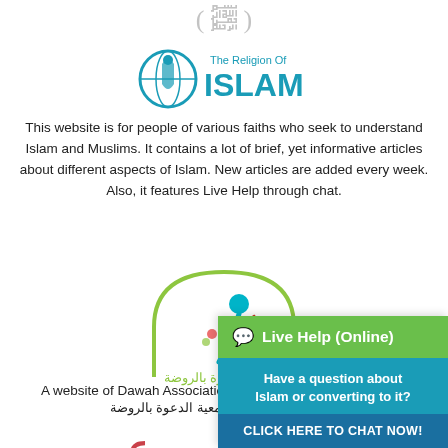[Figure (logo): Arabic decorative calligraphy at top of page]
[Figure (logo): The Religion Of ISLAM logo with globe icon in blue/teal]
This website is for people of various faiths who seek to understand Islam and Muslims. It contains a lot of brief, yet informative articles about different aspects of Islam. New articles are added every week. Also, it features Live Help through chat.
[Figure (logo): Rawdah Dawah Association logo - colorful figure under dome arch with Arabic text]
A website of Dawah Association in Rawdah
جمعية الدعوة بالروضة
[Figure (logo): Partial Arabic calligraphy logo at bottom left]
[Figure (screenshot): Live Help (Online) chat widget overlay with green header, teal body saying 'Have a question about Islam or converting to it?' and dark blue button 'CLICK HERE TO CHAT NOW!']